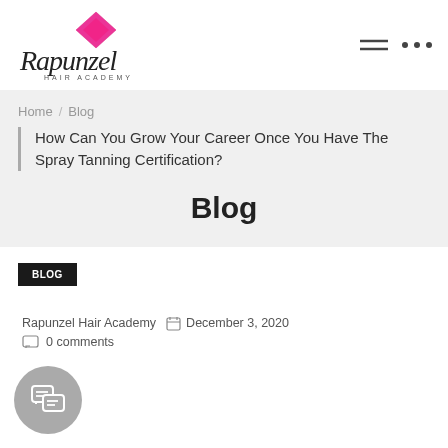[Figure (logo): Rapunzel Hair Academy logo with pink diamond and cursive script text]
Home / Blog
How Can You Grow Your Career Once You Have The Spray Tanning Certification?
Blog
BLOG
Rapunzel Hair Academy   December 3, 2020
0 comments